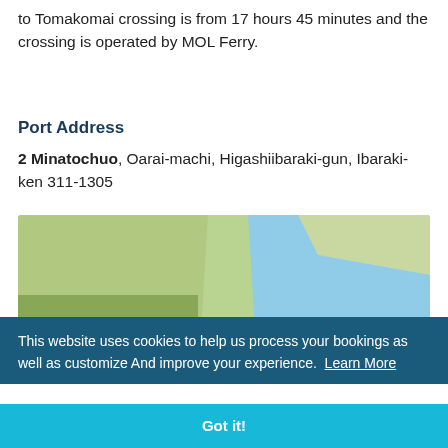to Tomakomai crossing is from 17 hours 45 minutes and the crossing is operated by MOL Ferry.
Port Address
2 Minatochuo, Oarai-machi, Higashiibaraki-gun, Ibaraki-ken 311-1305
[Figure (map): A blurred map showing the coastal area near Oarai-machi with green land on the left and blue ocean on the right, with a location pin marker.]
This website uses cookies to help us process your bookings as well as customize And improve your experience. Learn More
Got it!